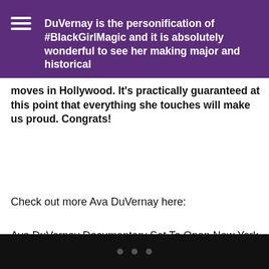DuVernay is the personification of #BlackGirlMagic and it is absolutely wonderful to see her making major and historical moves in Hollywood. It's practically guaranteed at this point that everything she touches will make us proud. Congrats!
Check out more Ava DuVernay here:
Ava DuVernay Documentary Set To Open New York Film Festival
• • •